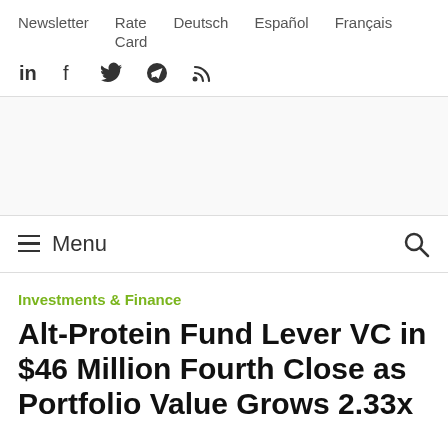Newsletter  Rate Card  Deutsch  Español  Français
in  f  twitter  telegram  rss
≡ Menu
Investments & Finance
Alt-Protein Fund Lever VC in $46 Million Fourth Close as Portfolio Value Grows 2.33x